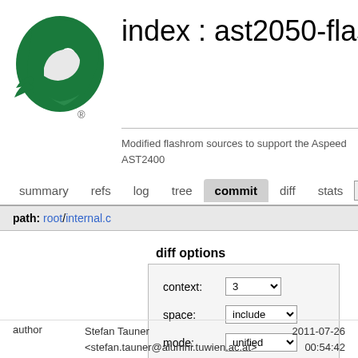[Figure (logo): Green eagle/hawk head logo facing right, with registered trademark symbol below]
index : ast2050-flas
Modified flashrom sources to support the Aspeed AST2400
summary  refs  log  tree  commit  diff  stats  lo
path: root/internal.c
diff options
| context: | 3 |
| space: | include |
| mode: | unified |
author
Stefan Tauner <stefan.tauner@alumni.tuwien.ac.at>
2011-07-26 00:54:42 +0000
committer
Stefan Tauner